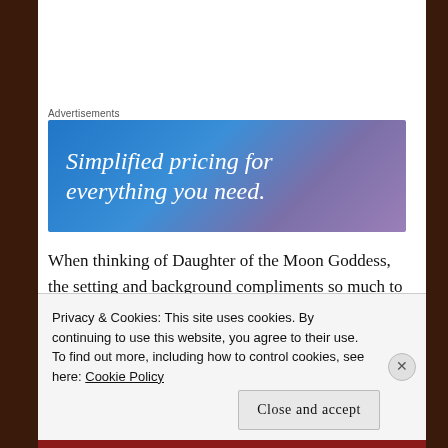Advertisements
[Figure (illustration): Advertisement banner with gradient blue-to-purple background showing text: 'Simplified pricing for everything you need.']
When thinking of Daughter of the Moon Goddess, the setting and background compliments so much to the story. The mystical aspect of it allows the reader to dive into a beautiful world, watching Xingyin travel away from the moon on a cloud. It allowed me to escape into a
Privacy & Cookies: This site uses cookies. By continuing to use this website, you agree to their use. To find out more, including how to control cookies, see here: Cookie Policy
Close and accept